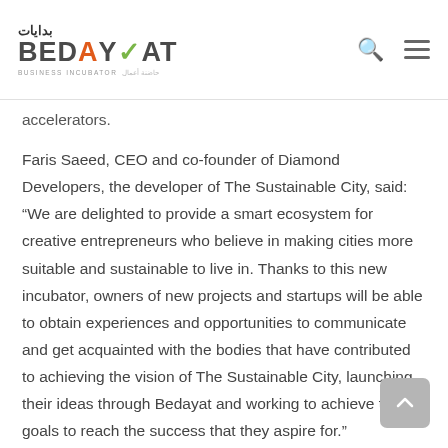BEDAYAT - Business Incubator
accelerators.
Faris Saeed, CEO and co-founder of Diamond Developers, the developer of The Sustainable City, said: “We are delighted to provide a smart ecosystem for creative entrepreneurs who believe in making cities more suitable and sustainable to live in. Thanks to this new incubator, owners of new projects and startups will be able to obtain experiences and opportunities to communicate and get acquainted with the bodies that have contributed to achieving the vision of The Sustainable City, launching their ideas through Bedayat and working to achieve their goals to reach the success that they aspire for.”
Bedayat will provide support services for startups, including training sessions and opportunities to meet with